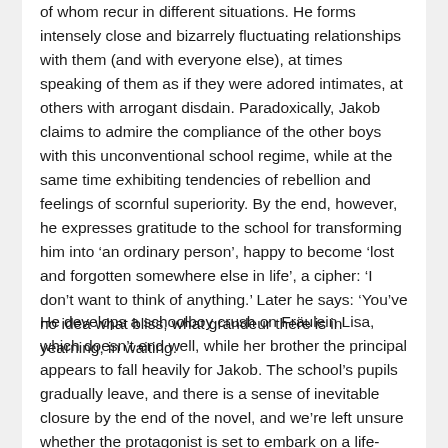of whom recur in different situations. He forms intensely close and bizarrely fluctuating relationships with them (and with everyone else), at times speaking of them as if they were adored intimates, at others with arrogant disdain. Paradoxically, Jakob claims to admire the compliance of the other boys with this unconventional school regime, while at the same time exhibiting tendencies of rebellion and feelings of scornful superiority. By the end, however, he expresses gratitude to the school for transforming him into ‘an ordinary person’, happy to become ‘lost and forgotten somewhere else in life’, a cipher: ‘I don’t want to think of anything.’ Later he says: ‘You’ve no idea what bliss, what grandeur there is in yearning, in waiting.’
He develops a schoolboy crush on Fräulein Lisa, which doesn’t end well, while her brother the principal appears to fall heavily for Jakob. The school’s pupils gradually leave, and there is a sense of inevitable closure by the end of the novel, and we’re left unsure whether the protagonist is set to embark on a life-enhancing adventure with his return. Or else, like Don Quixote, riding off into